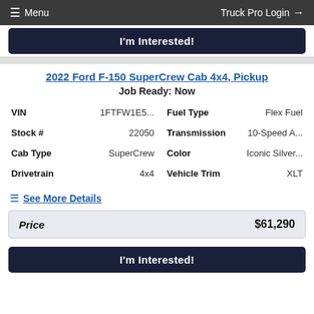≡ Menu   Truck Pro Login →
I'm Interested!
2022 Ford F-150 SuperCrew Cab 4x4, Pickup
Job Ready: Now
| Field | Value | Field | Value |
| --- | --- | --- | --- |
| VIN | 1FTFW1E5... | Fuel Type | Flex Fuel |
| Stock # | 22050 | Transmission | 10-Speed A... |
| Cab Type | SuperCrew | Color | Iconic Silver... |
| Drivetrain | 4x4 | Vehicle Trim | XLT |
See More Details
Price  $61,290
I'm Interested!